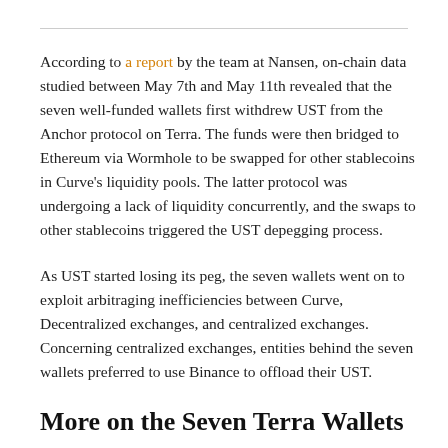According to a report by the team at Nansen, on-chain data studied between May 7th and May 11th revealed that the seven well-funded wallets first withdrew UST from the Anchor protocol on Terra. The funds were then bridged to Ethereum via Wormhole to be swapped for other stablecoins in Curve's liquidity pools. The latter protocol was undergoing a lack of liquidity concurrently, and the swaps to other stablecoins triggered the UST depegging process.
As UST started losing its peg, the seven wallets went on to exploit arbitraging inefficiencies between Curve, Decentralized exchanges, and centralized exchanges. Concerning centralized exchanges, entities behind the seven wallets preferred to use Binance to offload their UST.
More on the Seven Terra Wallets